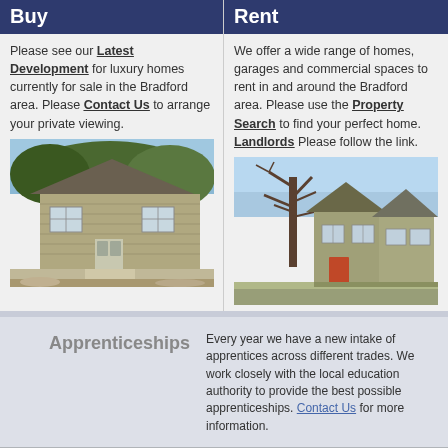Buy
Please see our Latest Development for luxury homes currently for sale in the Bradford area. Please Contact Us to arrange your private viewing.
[Figure (photo): Stone house with trees and garden in the Bradford area]
Rent
We offer a wide range of homes, garages and commercial spaces to rent in and around the Bradford area. Please use the Property Search to find your perfect home. Landlords Please follow the link.
[Figure (photo): Semi-detached house with large bare tree in front, Bradford area]
Apprenticeships
Every year we have a new intake of apprentices across different trades. We work closely with the local education authority to provide the best possible apprenticeships. Contact Us for more information.
Decent Homes
Working closely with social and private landlords, we are implementing the standards required for properties to meet the